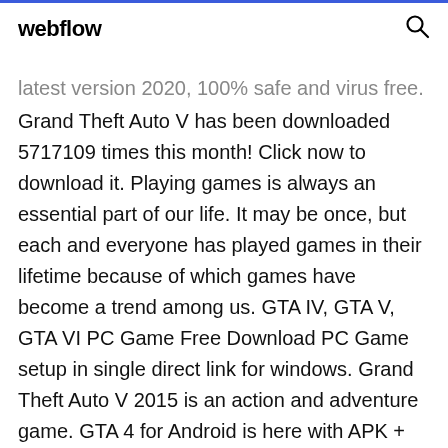webflow
latest version 2020, 100% safe and virus free. Grand Theft Auto V has been downloaded 5717109 times this month! Click now to download it. Playing games is always an essential part of our life. It may be once, but each and everyone has played games in their lifetime because of which games have become a trend among us. GTA IV, GTA V, GTA VI PC Game Free Download PC Game setup in single direct link for windows. Grand Theft Auto V 2015 is an action and adventure game. GTA 4 for Android is here with APK + OBB with crack apk. This blog is all about gaming so you can also read more articles on our website Download GTA 4 APK For Free - GTA IV Android